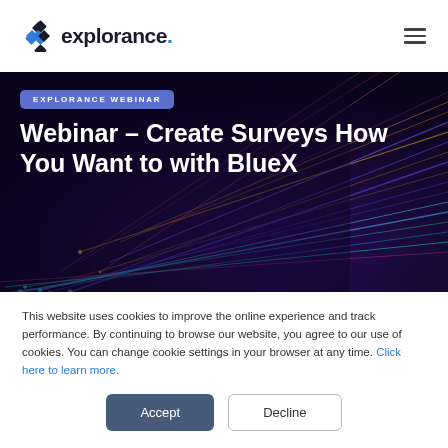explorance.
[Figure (photo): Fiber optic cables background image with colorful glowing strands in purple, red, blue and gold tones]
Webinar – Create Surveys How You Want to with BlueX
This website uses cookies to improve the online experience and track performance. By continuing to browse our website, you agree to our use of cookies. You can change cookie settings in your browser at any time. Click here to learn more.
Accept
Decline